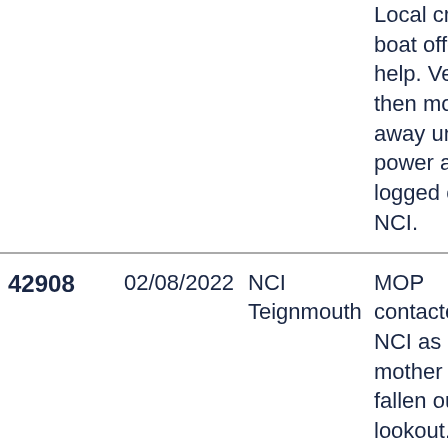| ID | Date | Station | Description |
| --- | --- | --- | --- |
|  |  |  | Local crab boat offered , help. Vessel then moved away under power and logged off by NCI. |
| 42908 | 02/08/2022 | NCI Teignmouth | MOP contacted NCI as his mother had fallen outside lookout. No eta for ambulance |